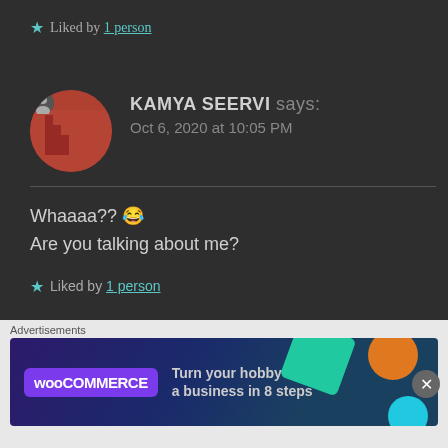★ Liked by 1 person
KAMYA SEERVI says:
Oct 6, 2020 at 10:05 PM
Whaaaa?? 😂
Are you talking about me?
★ Liked by 1 person
Advertisements
[Figure (infographic): WooCommerce advertisement banner: Turn your hobby into a business in 8 steps]